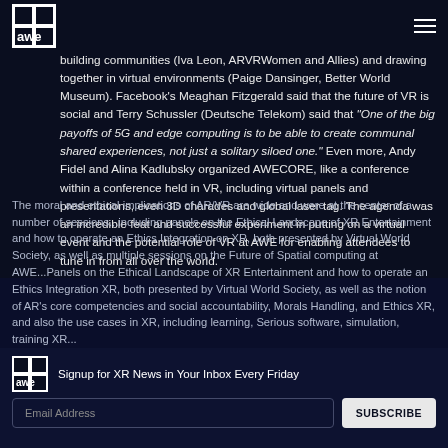AWE logo and navigation
AWE agenda, a number of presenters spoke to shared XR experiences, from bringing fans in VR to watch a live event to making friends and building communities (Iva Leon, ARVRWomen and Allies) and drawing together in virtual environments (Paige Dansinger, Better World Museum). Facebook's Meaghan Fitzgerald said that the future of VR is social and Terry Schussler (Deutsche Telekom) said that "One of the big payoffs of 5G and edge computing is to be able to create communal shared experiences, not just a solitary siloed one." Even more, Andy Fidel and Alina Kadlubsky organized AWECORE, like a conference within a conference held in VR, including virtual panels and presentations, even 3D charades and global laser tag. The agenda was an incredible feat and successful experiment in putting on a virtual event and the potential role of VR at AWE for enabling attendees to tune in from all over the world.
Morals and ethics of AR/VR.
In his Opening Keynote, Ori Inbar referred to 2019 as the Year of the Creator. It's time for creators to show what AR/VR can be used for, but with new opportunities (new tech, new markets) come new responsibilities to put humanity at the center of UX design(Timoni West, Unity), to experiment responsibly and not "mess with people's brains" (Matt Daly, Wargaming Group), and to keep ethics and privacy at the forefront of XR thinking.
The moral and ethical implications of AR/VR are wide and were at the center of a number of sessions...panels on the Ethical Landscape of XR Entertainment and how to operate an Ethics Integration on XR, both presented by Virtual World Society, as well as multiple sessions on the Future of XR: Core competencies and social accountability, Morals Handling, and Ethics XR...
Signup for XR News in Your Inbox Every Friday
Email Address
SUBSCRIBE